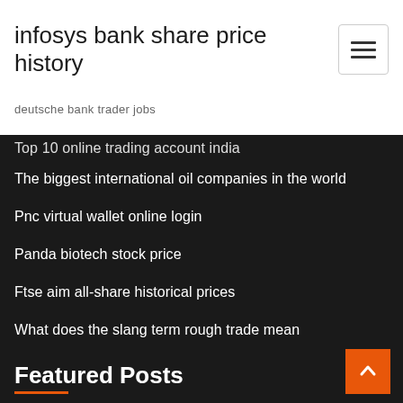infosys bank share price history
deutsche bank trader jobs
Top 10 online trading account india
The biggest international oil companies in the world
Pnc virtual wallet online login
Panda biotech stock price
Ftse aim all-share historical prices
What does the slang term rough trade mean
Featured Posts
How to start a online business with amazon
Present value of future annuity payments